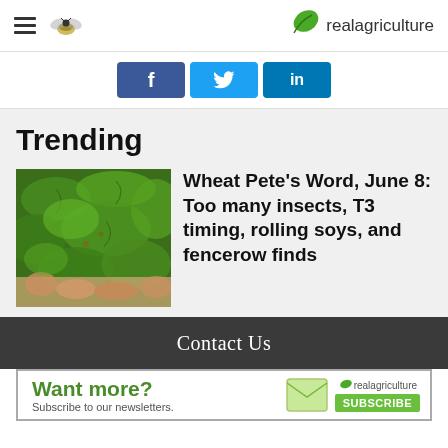realagriculture
[Figure (screenshot): Social sharing buttons: Facebook (f), Twitter (bird), LinkedIn (in)]
Trending
[Figure (photo): Photo of green soybean plant leaves being held by a hand]
Wheat Pete's Word, June 8: Too many insects, T3 timing, rolling soys, and fencerow finds
Contact Us
[Figure (infographic): Ad banner: Want more? Subscribe to our newsletters. realagriculture SUBSCRIBE]